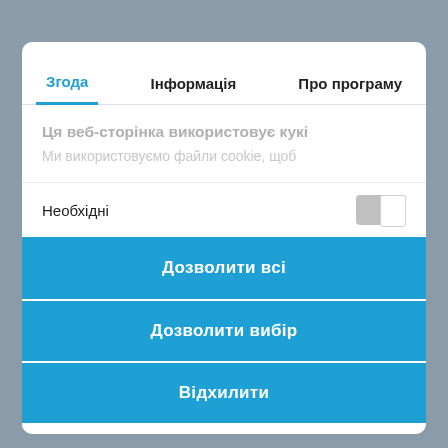Згода	Інформація	Про програму
Ця веб-сторінка використовує кукі
Ми використовуємо файли cookie, щоб
Необхідні
Дозволити всі
Дозволити вибір
Відхилити